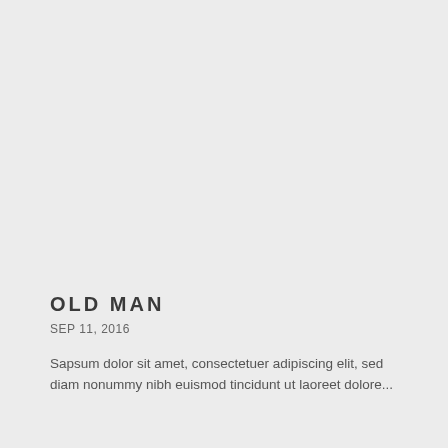OLD MAN
SEP 11, 2016
Sapsum dolor sit amet, consectetuer adipiscing elit, sed diam nonummy nibh euismod tincidunt ut laoreet dolore...